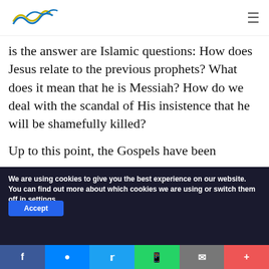[Logo] [Menu icon]
is the answer are Islamic questions: How does Jesus relate to the previous prophets? What does it mean that he is Messiah? How do we deal with the scandal of His insistence that he will be shamefully killed?
Up to this point, the Gospels have been
We are using cookies to give you the best experience on our website.
You can find out more about which cookies we are using or switch them off in settings.
Accept